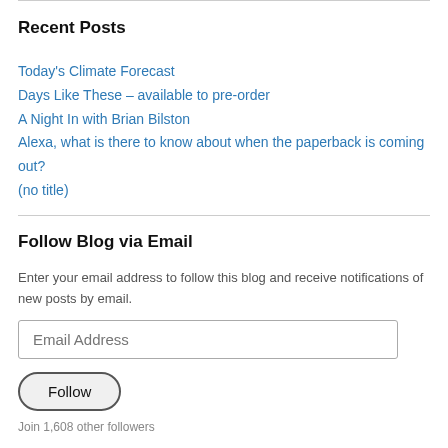Recent Posts
Today's Climate Forecast
Days Like These – available to pre-order
A Night In with Brian Bilston
Alexa, what is there to know about when the paperback is coming out?
(no title)
Follow Blog via Email
Enter your email address to follow this blog and receive notifications of new posts by email.
Join 1,608 other followers